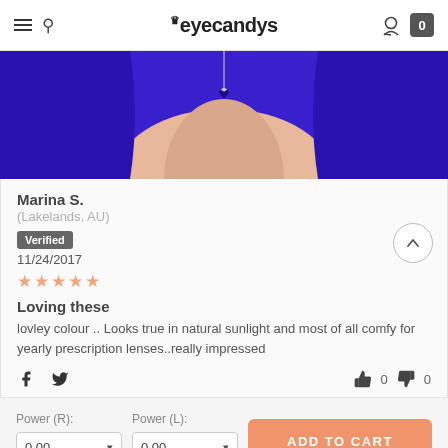eyecandys
[Figure (photo): Close-up product photo showing a woman wearing a blue outfit with a heart pendant necklace, cropped to show neck/chest area]
Marina S.
(Lakelands, AU)
Verified
11/24/2017
★★★★★
Loving these
lovley colour .. Looks true in natural sunlight and most of all comfy for yearly prescription lenses..really impressed
ADD TO CART